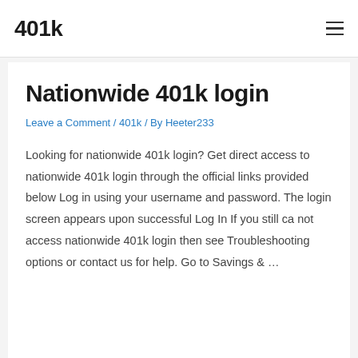401k
Nationwide 401k login
Leave a Comment / 401k / By Heeter233
Looking for nationwide 401k login? Get direct access to nationwide 401k login through the official links provided below Log in using your username and password. The login screen appears upon successful Log In If you still ca not access nationwide 401k login then see Troubleshooting options or contact us for help. Go to Savings & ...